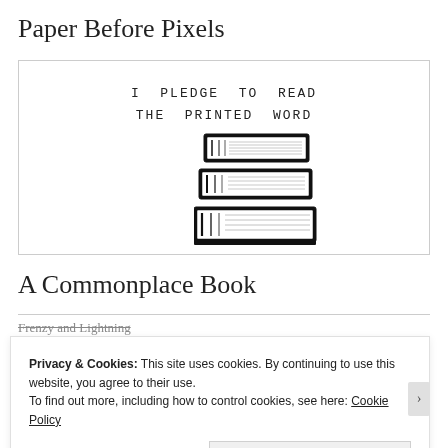Paper Before Pixels
[Figure (illustration): A bordered banner with typewriter-style text 'I PLEDGE TO READ THE PRINTED WORD' and an illustration of a stack of books below it.]
A Commonplace Book
Frenzy and Lightning
Privacy & Cookies: This site uses cookies. By continuing to use this website, you agree to their use.
To find out more, including how to control cookies, see here: Cookie Policy
Close and accept